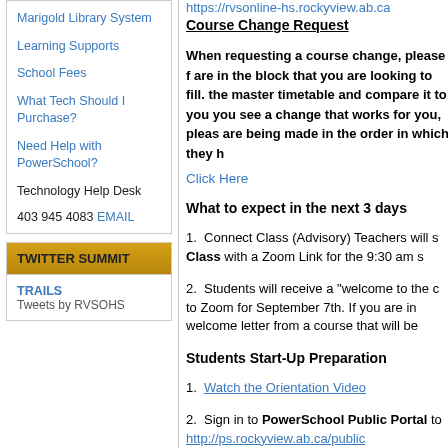Marigold Library System
Learning Supports
School Fees
What Tech Should I Purchase?
Need Help with PowerSchool?
Technology Help Desk
403 945 4083 EMAIL
TWITTER SUMMIT
TRAILS
Tweets by RVSOHS
https://rvsonline-hs.rockyview.ab.ca
Course Change Request
When requesting a course change, please f are in the block that you are looking to fill. the master timetable and compare it to you you see a change that works for you, pleas are being made in the order in which they h
Click Here
What to expect in the next 3 days
Connect Class (Advisory) Teachers will s Class with a Zoom Link for the 9:30 am s
Students will receive a "welcome to the c to Zoom for September 7th. If you are in welcome letter from a course that will be
Students Start-Up Preparation
Watch the Orientation Video
Sign in to PowerSchool Public Portal to http://ps.rockyview.ab.ca/public
Sign in to Moodle to make sure you are